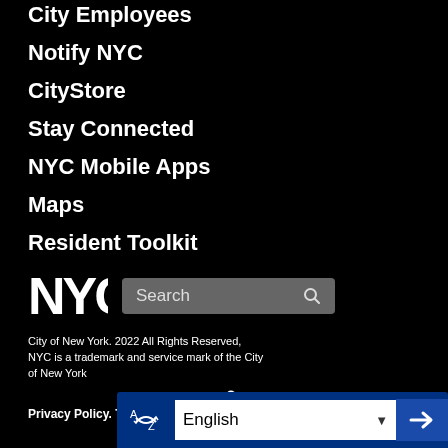City Employees
Notify NYC
CityStore
Stay Connected
NYC Mobile Apps
Maps
Resident Toolkit
[Figure (logo): NYC logo in white on black background]
City of New York. 2022 All Rights Reserved, NYC is a trademark and service mark of the City of New York
Privacy Policy. Terms of Use.
[Figure (infographic): Accessibility (wheelchair) icon]
English